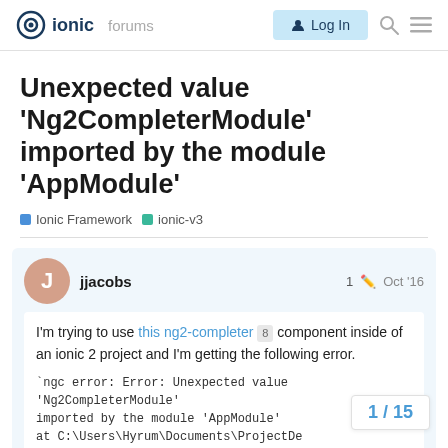ionic forums | Log In
Unexpected value 'Ng2CompleterModule' imported by the module 'AppModule'
Ionic Framework   ionic-v3
jjacobs  1  Oct '16
I'm trying to use this ng2-completer 8 component inside of an ionic 2 project and I'm getting the following error.
`ngc error: Error: Unexpected value 'Ng2CompleterModule' imported by the module 'AppModule' at C:\Users\Hyrum\Documents\ProjectDe
1 / 15